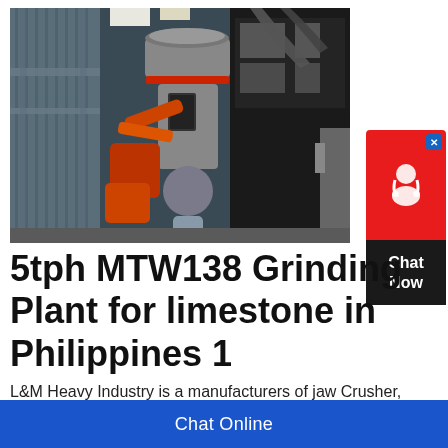[Figure (photo): Industrial grinding plant interior showing a large MTW138 grinding mill with red/orange mechanical arm attachment, grey cylindrical body with red trim, ductwork, scaffolding, and a large black filtration unit in the background inside a warehouse/factory setting.]
[Figure (infographic): Chat widget with red background showing headset/customer service icon and blue close button at top, with dark bottom section showing 'Chat Now' text.]
5tph MTW138 Grinding Plant for limestone in Philippines 1
L&M Heavy Industry is a manufacturers of jaw Crusher, cone Crusher, sand making machine, vsi
Chat Online